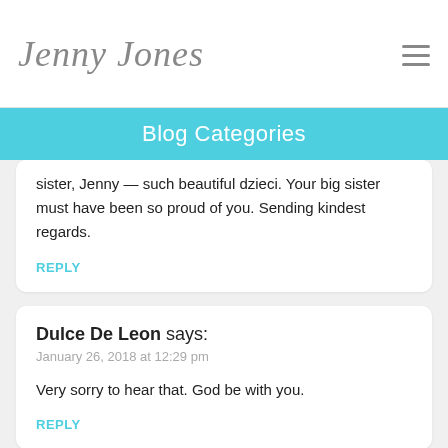Jenny Jones
Blog Categories
sister, Jenny — such beautiful dzieci. Your big sister must have been so proud of you. Sending kindest regards.
REPLY
Dulce De Leon says:
January 26, 2018 at 12:29 pm
Very sorry to hear that. God be with you.
REPLY
Daniel says: